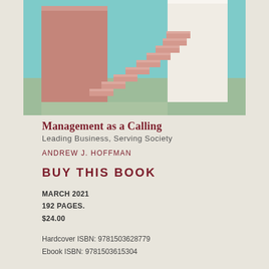[Figure (photo): 3D rendered illustration of pink/salmon colored staircase steps against a teal/mint background with a light green floor, geometric architectural composition]
Management as a Calling
Leading Business, Serving Society
ANDREW J. HOFFMAN
BUY THIS BOOK
MARCH 2021
192 PAGES.
$24.00
Hardcover ISBN: 9781503628779
Ebook ISBN: 9781503615304